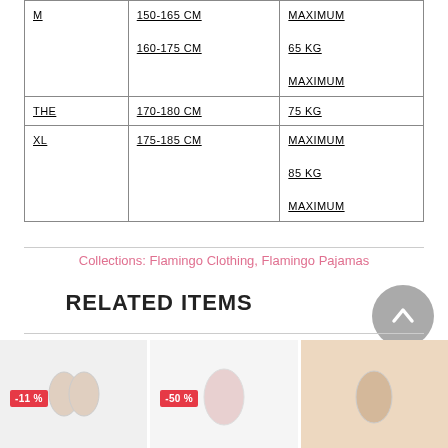| Size | Height | Weight |
| --- | --- | --- |
| M | 150-165 CM
160-175 CM | MAXIMUM
65 KG
MAXIMUM |
| THE | 170-180 CM | 75 KG |
| XL | 175-185 CM | MAXIMUM
85 KG
MAXIMUM |
Collections: Flamingo Clothing, Flamingo Pajamas
RELATED ITEMS
[Figure (photo): Product thumbnail with -11% badge]
[Figure (photo): Product thumbnail with -50% badge]
[Figure (photo): Product thumbnail, no badge visible]